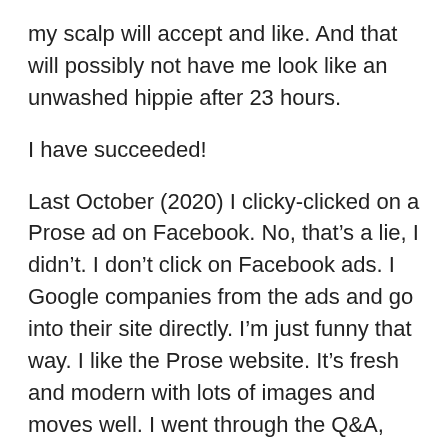my scalp will accept and like. And that will possibly not have me look like an unwashed hippie after 23 hours.
I have succeeded!
Last October (2020) I clicky-clicked on a Prose ad on Facebook. No, that’s a lie, I didn’t. I don’t click on Facebook ads. I Google companies from the ads and go into their site directly. I’m just funny that way. I like the Prose website. It’s fresh and modern with lots of images and moves well. I went through the Q&A, longer than any I had answered before, and was presented with the options Prose selected based on my responses.
I was offered a shampoo, a spray-on detangler/conditioner for after, a weekly scalp mask,